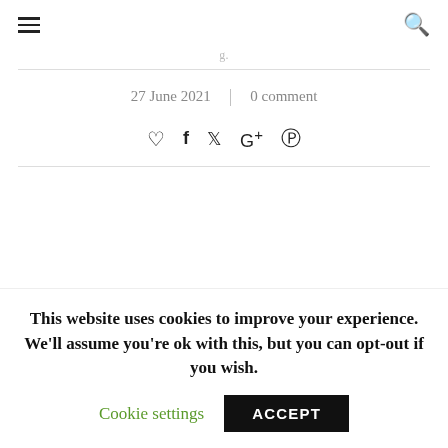≡  🔍
27 June 2021  |  0 comment
♡  f  𝕏  G+  𝓟
Type and hit enter...
This website uses cookies to improve your experience. We'll assume you're ok with this, but you can opt-out if you wish.
Cookie settings  ACCEPT